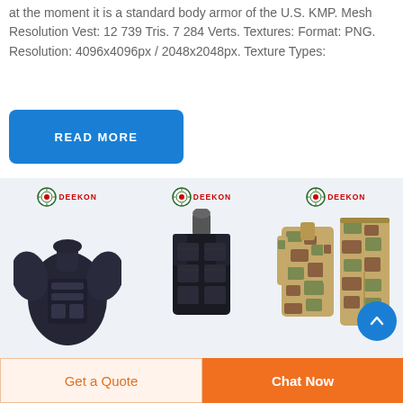at the moment it is a standard body armor of the U.S. KMP. Mesh Resolution Vest: 12 739 Tris. 7 284 Verts. Textures: Format: PNG. Resolution: 4096x4096px / 2048x2048px. Texture Types:
[Figure (other): Blue 'READ MORE' button]
[Figure (photo): Three product images with DEEKON branding: black body armor, black tactical vest, and desert camouflage uniform set]
[Figure (other): Blue circular scroll-up arrow button]
Get a Quote  |  Chat Now